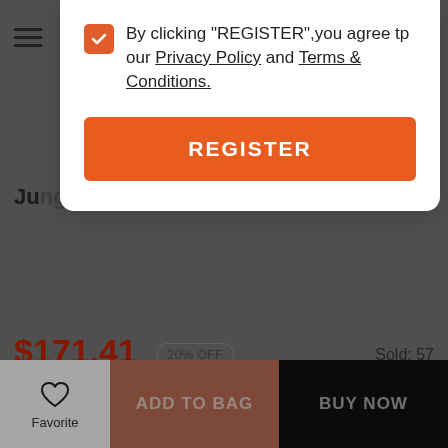[Figure (screenshot): E-commerce product page screenshot showing a product with price $171.41, 20% OFF badge, original price $214.26, payment options via Afterpay ($42.85), Klarna ($45.03), Zip ($45.03), coupon code SE20, and bottom action bar with Favorite, ADD TO BAG, and BUY NOW buttons. A modal dialog overlays the page prompting the user to register, with checkbox icon, privacy policy and terms links, and an orange REGISTER button.]
By clicking "REGISTER",you agree tp our Privacy Policy and Terms & Conditions.
REGISTER
$171.41
20% OFF
$214.26
Sold: 57
All Orders 20% Off.Code:SE20
4 equal payments of $42.85 USD with
or 4 equal payments of $45.03 USD with
or 4 equal payments of $45.03 USD with
Favorite
ADD TO BAG
BUY NOW